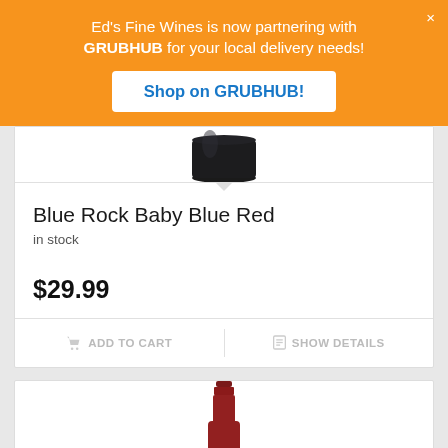Ed's Fine Wines is now partnering with GRUBHUB for your local delivery needs!
Shop on GRUBHUB!
[Figure (photo): Bottom of a dark wine bottle on white background]
Blue Rock Baby Blue Red
in stock
$29.99
ADD TO CART
SHOW DETAILS
[Figure (photo): Top of a red foil-capped wine bottle on white background]